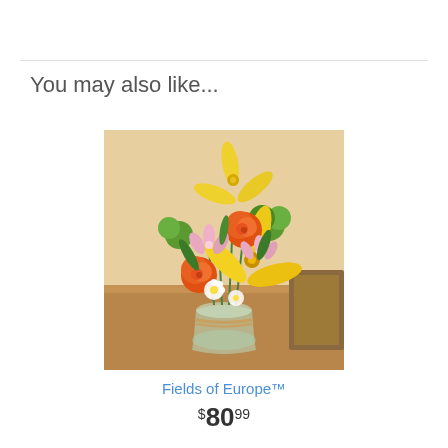You may also like...
[Figure (photo): Photo of a floral bouquet with yellow lilies, orange roses, pink flowers, green pom poms in a glass vase on a wooden table.]
Fields of Europe™
$80.99